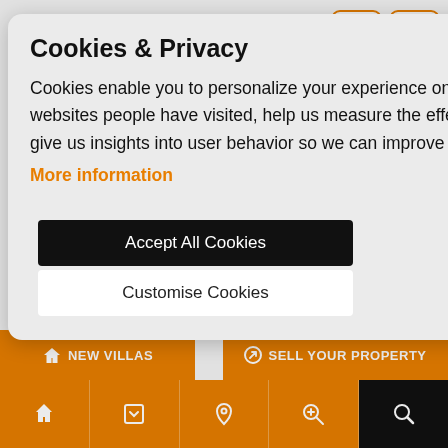[Figure (screenshot): Website cookie consent modal overlay on a real estate website. Background shows orange nav buttons labeled 'NEW VILLAS' and 'SELL YOUR PROPERTY', a Ref.:1766 badge, and a bottom icon bar. In the foreground is a gray modal with title 'Cookies & Privacy', body text, 'More information' link in orange, a black 'Accept All Cookies' button, and a white 'Customise Cookies' button.]
Cookies & Privacy
Cookies enable you to personalize your experience on our site, tell us which parts of our websites people have visited, help us measure the effectiveness of ads and web searches, and give us insights into user behavior so we can improve our communications and products.
More information
Accept All Cookies
Customise Cookies